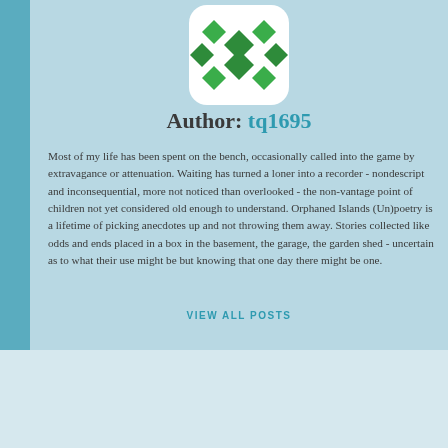[Figure (logo): WordPress-style geometric green logo icon with diamond/star pattern on white rounded square background]
Author: tq1695
Most of my life has been spent on the bench, occasionally called into the game by extravagance or attenuation. Waiting has turned a loner into a recorder - nondescript and inconsequential, more not noticed than overlooked - the non-vantage point of children not yet considered old enough to understand. Orphaned Islands (Un)poetry is a lifetime of picking anecdotes up and not throwing them away. Stories collected like odds and ends placed in a box in the basement, the garage, the garden shed - uncertain as to what their use might be but knowing that one day there might be one.
VIEW ALL POSTS
Advertisements
[Figure (screenshot): WordPress.com advertisement banner with dark navy background, WordPress logo, WordPress.com text, and pink 'Build Your Website' button]